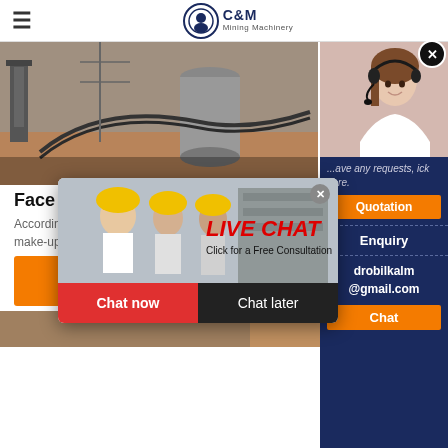C&M Mining Machinery
[Figure (photo): Construction/mining site with machinery, conveyor belts, and industrial structures]
Face Mak...
According to... make-up market is expected to reach a va...
[Figure (screenshot): Live Chat popup with workers in yellow hard hats, LIVE CHAT heading, Click for a Free Consultation text, Chat now and Chat later buttons]
[Figure (photo): Right sidebar showing customer service agent with headset, Quotation button, Enquiry section, drobilkalm@gmail.com email, Chat button]
Get Price
Send
[Figure (photo): Bottom strip showing additional site imagery with orange Chat button]